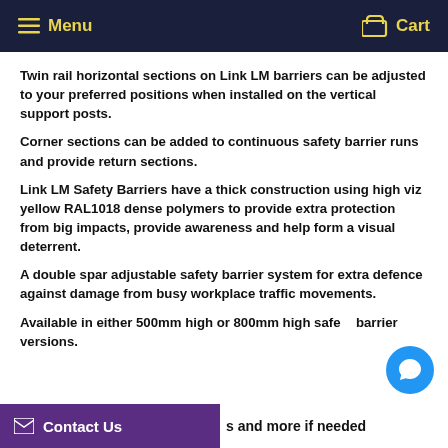Menu   Cart
Twin rail horizontal sections on Link LM barriers can be adjusted to your preferred positions when installed on the vertical support posts.
Corner sections can be added to continuous safety barrier runs and provide return sections.
Link LM Safety Barriers have a thick construction using high viz yellow RAL1018 dense polymers to provide extra protection from big impacts, provide awareness and help form a visual deterrent.
A double spar adjustable safety barrier system for extra defence against damage from busy workplace traffic movements.
Available in either 500mm high or 800mm high safety barrier versions.
s and more if needed
Contact Us